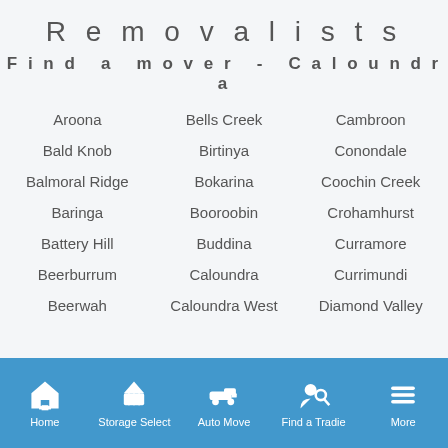Removalists
Find a mover - Caloundra
Aroona
Bells Creek
Cambroon
Bald Knob
Birtinya
Conondale
Balmoral Ridge
Bokarina
Coochin Creek
Baringa
Booroobin
Crohamhurst
Battery Hill
Buddina
Curramore
Beerburrum
Caloundra
Currimundi
Beerwah
Caloundra West
Diamond Valley
Home | Storage Select | Auto Move | Find a Tradie | More